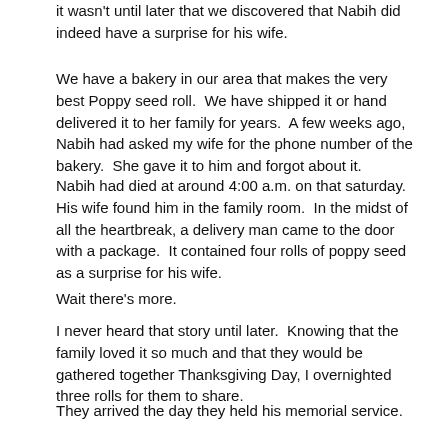it wasn't until later that we discovered that Nabih did indeed have a surprise for his wife.
We have a bakery in our area that makes the very best Poppy seed roll.  We have shipped it or hand delivered it to her family for years.  A few weeks ago, Nabih had asked my wife for the phone number of the bakery.  She gave it to him and forgot about it.
Nabih had died at around 4:00 a.m. on that saturday. His wife found him in the family room.  In the midst of all the heartbreak, a delivery man came to the door with a package.  It contained four rolls of poppy seed as a surprise for his wife.
Wait there's more.
I never heard that story until later.  Knowing that the family loved it so much and that they would be gathered together Thanksgiving Day, I overnighted three rolls for them to share.
They arrived the day they held his memorial service.
His gift to them was his life.  His surprise wasn't diamonds, gold or even a new robe.